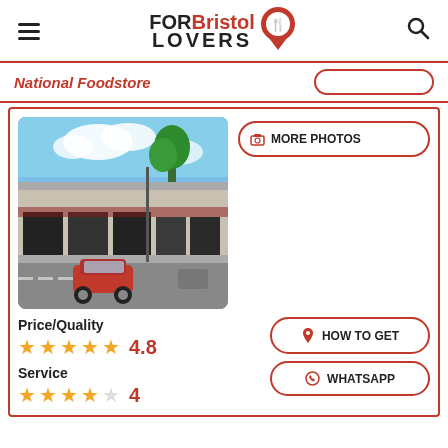FORBristol LOVERS
National Foodstore
[Figure (photo): Street-level photo of a retail store frontage with a red car parked outside and trees visible above the roofline under a partly cloudy blue sky.]
MORE PHOTOS
Price/Quality
4.8
HOW TO GET
Service
WHATSAPP